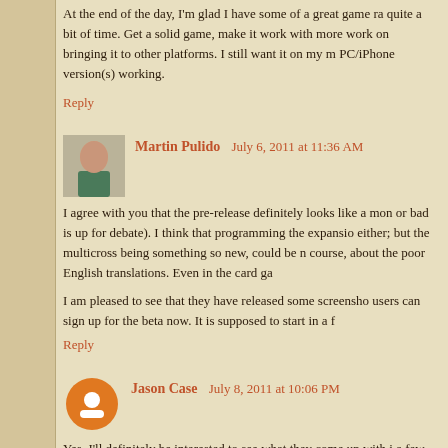At the end of the day, I'm glad I have some of a great game ra... quite a bit of time. Get a solid game, make it work with more... work on bringing it to other platforms. I still want it on my m... PC/iPhone version(s) working.
Reply
Martin Pulido   July 6, 2011 at 11:36 AM
I agree with you that the pre-release definitely looks like a mon... or bad is up for debate). I think that programming the expansio... either; but the multicross being something so new, could be n... course, about the poor English translations. Even in the card ga...
I am pleased to see that they have released some screensho... users can sign up for the beta now. It is supposed to start in a f...
Reply
Jason Case   July 8, 2011 at 10:06 PM
Yes, I'll definitely be interested to see what they come up with i... a few more characters, too. Perhaps I'm being overly optimistic...
Reply